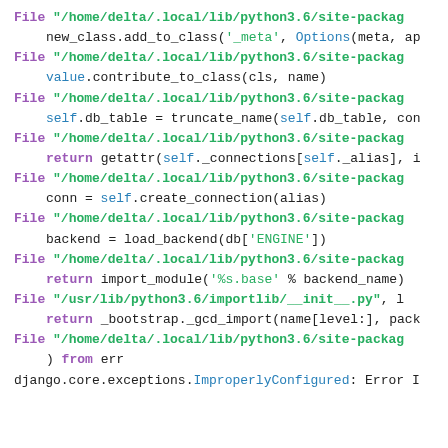File "/home/delta/.local/lib/python3.6/site-packag
new_class.add_to_class('_meta', Options(meta, ap
File "/home/delta/.local/lib/python3.6/site-packag
value.contribute_to_class(cls, name)
File "/home/delta/.local/lib/python3.6/site-packag
self.db_table = truncate_name(self.db_table, con
File "/home/delta/.local/lib/python3.6/site-packag
return getattr(self._connections[self._alias], i
File "/home/delta/.local/lib/python3.6/site-packag
conn = self.create_connection(alias)
File "/home/delta/.local/lib/python3.6/site-packag
backend = load_backend(db['ENGINE'])
File "/home/delta/.local/lib/python3.6/site-packag
return import_module('%s.base' % backend_name)
File "/usr/lib/python3.6/importlib/__init__.py", l
return _bootstrap._gcd_import(name[level:], pack
File "/home/delta/.local/lib/python3.6/site-packag
) from err
django.core.exceptions.ImproperlyConfigured: Error I